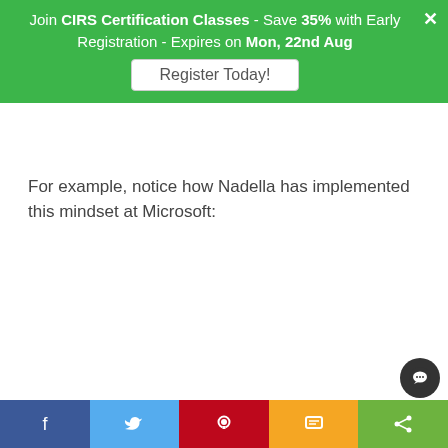[Figure (screenshot): Green promotional banner reading: Join CIRS Certification Classes - Save 35% with Early Registration - Expires on Mon, 22nd Aug, with a Register Today! button and a close X.]
For example, notice how Nadella has implemented this mindset at Microsoft:
[Figure (screenshot): Social sharing bar at bottom with Facebook, Twitter, Pinterest, SMS, and share buttons. A dark chat bubble icon is in the bottom right.]